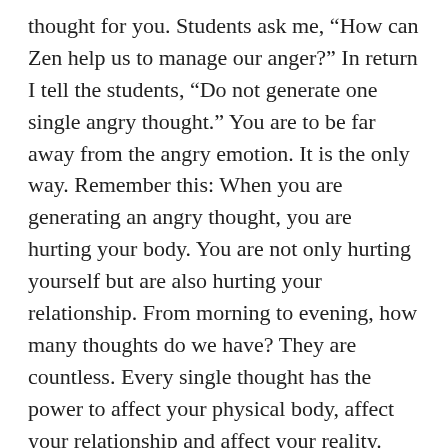thought for you. Students ask me, “How can Zen help us to manage our anger?” In return I tell the students, “Do not generate one single angry thought.” You are to be far away from the angry emotion. It is the only way. Remember this: When you are generating an angry thought, you are hurting your body. You are not only hurting yourself but are also hurting your relationship. From morning to evening, how many thoughts do we have? They are countless. Every single thought has the power to affect your physical body, affect your relationship and affect your reality. Unconsciously, we create negative karma. Unconsciously, we hurt our physical body; unconsciously we hurt our relationships. Unconsciously, every single thought has the power to affect our physical body. I used to tell students that treat themselves well. What do I mean by that? Consider this example: There is someone beside me. This is junk. I hate this person when I see him. Sigh… This